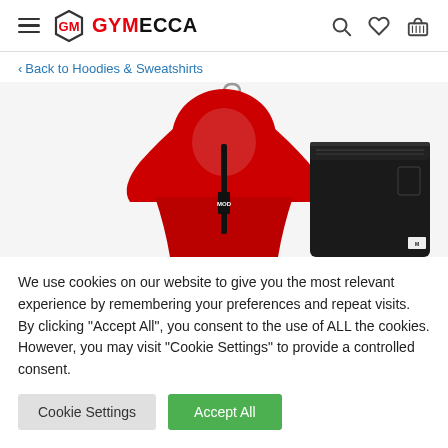GYMECCA — navigation header with hamburger menu, logo, search, wishlist, and cart icons
‹ Back to Hoodies & Sweatshirts
[Figure (photo): Product photo of a red hooded jacket on a silver hanger alongside black pants, partially visible, on a white background]
We use cookies on our website to give you the most relevant experience by remembering your preferences and repeat visits. By clicking "Accept All", you consent to the use of ALL the cookies. However, you may visit "Cookie Settings" to provide a controlled consent.
Cookie Settings | Accept All